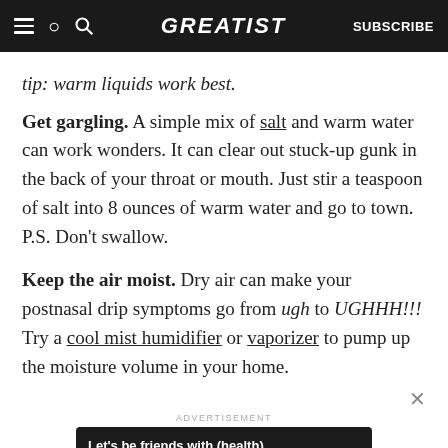GREATIST | SUBSCRIBE
tip: warm liquids work best.
Get gargling. A simple mix of salt and warm water can work wonders. It can clear out stuck-up gunk in the back of your throat or mouth. Just stir a teaspoon of salt into 8 ounces of warm water and go to town. P.S. Don't swallow.
Keep the air moist. Dry air can make your postnasal drip symptoms go from ugh to UGHHH!!! Try a cool mist humidifier or vaporizer to pump up the moisture volume in your home.
ADVERTISEMENT
Let's be friends with (health) benefits. Follow GREATIST on Instagram | FOLLOW US